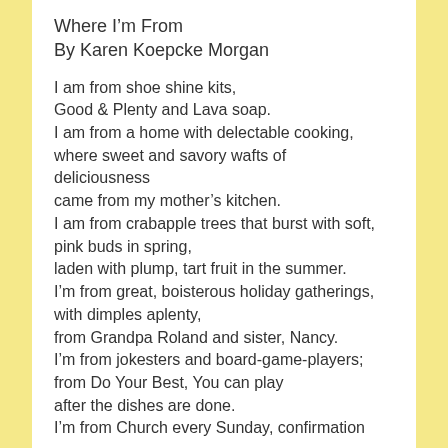Where I'm From
By Karen Koepcke Morgan
I am from shoe shine kits,
Good & Plenty and Lava soap.
I am from a home with delectable cooking,
where sweet and savory wafts of deliciousness
came from my mother's kitchen.
I am from crabapple trees that burst with soft,
pink buds in spring,
laden with plump, tart fruit in the summer.
I'm from great, boisterous holiday gatherings,
with dimples aplenty,
from Grandpa Roland and sister, Nancy.
I'm from jokesters and board-game-players;
from Do Your Best, You can play
after the dishes are done.
I'm from Church every Sunday, confirmation